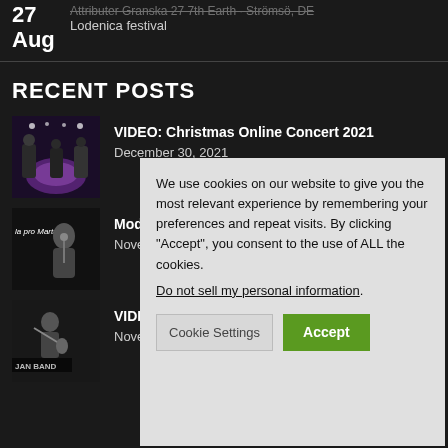27 Aug – Lodenica festival
RECENT POSTS
[Figure (photo): Concert photo with musicians on stage with purple lighting]
VIDEO: Christmas Online Concert 2021
December 30, 2021
[Figure (photo): Black and white photo of guitarist, text 'la pro Martu' visible]
Modli… November…
[Figure (photo): Black and white photo of guitarist, Jan Band text visible]
VIDE… Nove…
We use cookies on our website to give you the most relevant experience by remembering your preferences and repeat visits. By clicking "Accept", you consent to the use of ALL the cookies. Do not sell my personal information. Cookie Settings Accept